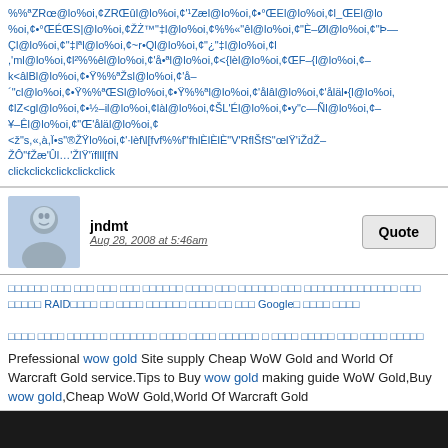%%ªZRœ@lo%oi,¢ZRŒûl@lo%oi,¢'¹Zæl@lo%oi,¢•°ŒEl@lo%oi,¢l_ŒEl@lo%oi,¢•°ŒÉŒS|@lo%oi,¢ŽŻ™"‡l@lo%oi,¢%%«"êl@lo%oi,¢"È–Øl@lo%oi,¢"Þ—Çl@lo%oi,¢"‡lªl@lo%oi,¢~r•Ql@lo%oi,¢"¿"‡l@lo%oi,¢l,'ml@lo%oi,¢lº%%êl@lo%oi,¢'å•ªl@lo%oi,¢<{lèl@lo%oi,¢ŒF–{l@lo%oi,¢–k<âlBl@lo%oi,¢•Ÿ%%ªŽsl@lo%oi,¢'å–´"cl@lo%oi,¢•Ÿ%%ªŒSl@lo%oi,¢•Ÿ%%ªl@lo%oi,¢'ålâl@lo%oi,¢'åläl•{l@lo%oi,¢lZ<gl@lo%oi,¢•½–il@lo%oi,¢làl@lo%oi,¢ŠL'Él@lo%oi,¢•y"c—Ñl@lo%oi,¢–¥–Êl@lo%oi,¢"Œ'åläl@lo%oi,¢<ž"s,«,à,Ï•s"®ŽŸlo%oi,¢'·lèf\l[fvf%%f"fhlÈlÈlÈ"V'RflŠfS"œlŸ'iŽdŽ–ŽÔ"fŽæ'Ûl…'ŽlŸ'ïflll[fN clickclickclickclickclick
jndmt
Aug 28, 2008 at 5:46am
□□□□□□ □□□ □□□ □□□ □□□ □□□□□□ □□□□ □□□ □□□□□□ □□□ □□□□□□□□□□□□□□ □□□ □□□□□ RAID□□□□ □□ □□□□ □□□□□□ □□□□ □□ □□□ Google□ □□□□ □□□□
□□□□ □□□□ □□□□□□ □□□□□□□ □□□□ □□□□ □□□□□□ □ □□□□ □□□□□ □□□ □□□□ □□□□□
Prefessional wow gold Site supply Cheap WoW Gold and World Of Warcraft Gold service.Tips to Buy wow gold making guide WoW Gold,Buy wow gold,Cheap WoW Gold,World Of Warcraft Gold